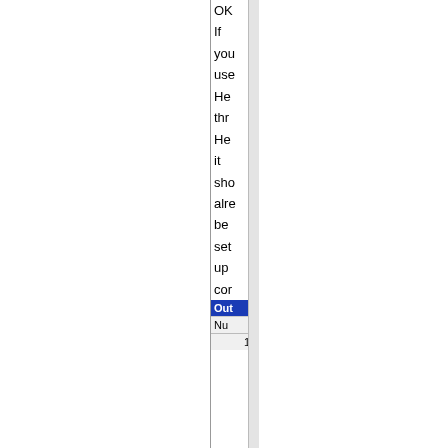OK If you use Health through Health it should already be set up correctly.
[Figure (screenshot): A screenshot showing a partial UI table with a blue header bar labeled 'Out' and a column header 'Nu' with a data row below it. A vertical scrollbar is visible on the right side.]